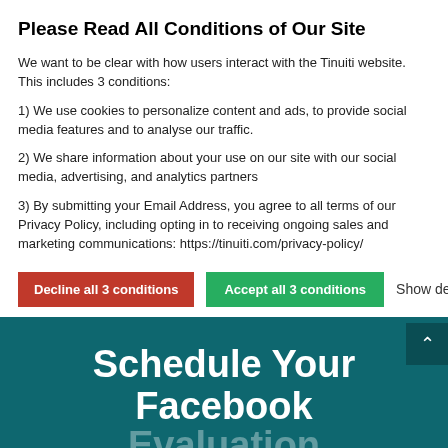Please Read All Conditions of Our Site
We want to be clear with how users interact with the Tinuiti website. This includes 3 conditions:
1) We use cookies to personalize content and ads, to provide social media features and to analyse our traffic.
2) We share information about your use on our site with our social media, advertising, and analytics partners
3) By submitting your Email Address, you agree to all terms of our Privacy Policy, including opting in to receiving ongoing sales and marketing communications: https://tinuiti.com/privacy-policy/
Decline all 3 conditions | Accept all 3 conditions | Show details
Schedule Your Facebook Evaluation